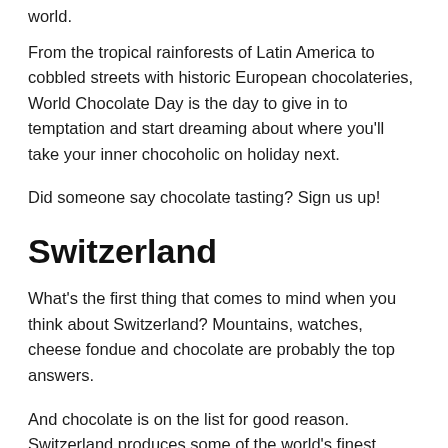world.
From the tropical rainforests of Latin America to cobbled streets with historic European chocolateries, World Chocolate Day is the day to give in to temptation and start dreaming about where you'll take your inner chocoholic on holiday next.
Did someone say chocolate tasting? Sign us up!
Switzerland
What's the first thing that comes to mind when you think about Switzerland? Mountains, watches, cheese fondue and chocolate are probably the top answers.
And chocolate is on the list for good reason. Switzerland produces some of the world's finest chocolate and the Swiss people know it, consuming a massive 8.8kg (19.4 pounds) of chocolate per capita per year, according to stats from World